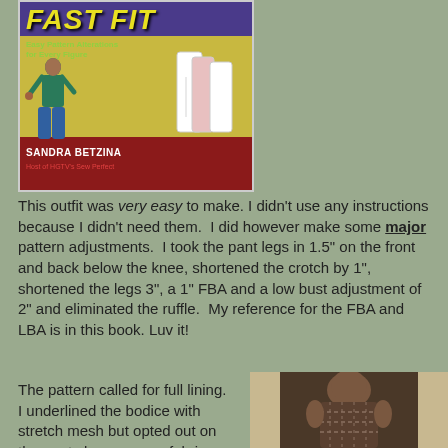[Figure (photo): Book cover of 'Fast Fit: Easy Pattern Alterations for Every Figure' by Sandra Betzina, host of HGTV's Sew Perfect. Shows a woman in teal outfit with white sewing patterns on a yellow/red background.]
This outfit was very easy to make. I didn't use any instructions because I didn't need them.  I did however make some major pattern adjustments.  I took the pant legs in 1.5" on the front and back below the knee, shortened the crotch by 1", shortened the legs 3", a 1" FBA and a low bust adjustment of 2" and eliminated the ruffle.  My reference for the FBA and LBA is in this book. Luv it!
The pattern called for full lining.  I underlined the bodice with stretch mesh but opted out on the pants because my fabric was so thick.  Instead I added a heavy foundation in
[Figure (photo): Photo of a person from behind wearing a patterned or textured garment, possibly showing the back of the outfit being discussed.]